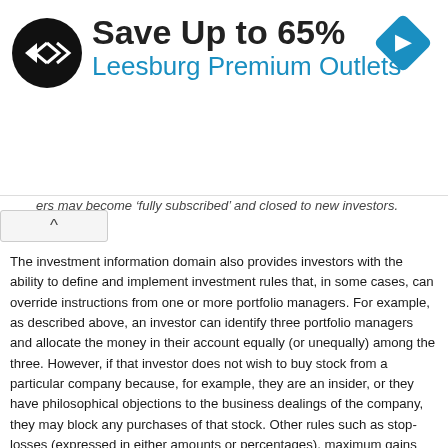[Figure (other): Advertisement banner for Leesburg Premium Outlets showing circular logo with arrows, 'Save Up to 65%' headline, and a blue navigation diamond icon]
ers may become 'fully subscribed' and closed to new investors.
The investment information domain also provides investors with the ability to define and implement investment rules that, in some cases, can override instructions from one or more portfolio managers. For example, as described above, an investor can identify three portfolio managers and allocate the money in their account equally (or unequally) among the three. However, if that investor does not wish to buy stock from a particular company because, for example, they are an insider, or they have philosophical objections to the business dealings of the company, they may block any purchases of that stock. Other rules such as stop-losses (expressed in either amounts or percentages), maximum gains can also be entered to affect subsequent trades. In one embodiment, the allocation module has capability to allow investors to set such rules during enrollment, and to allow maintenance and updating of the rules at any time thereafter.
Investors may have multiple accounts with the investment information domain, and may allow the trades suggested by the portfolio managers to execute across all of, or a subset of these accounts. They also can exercise